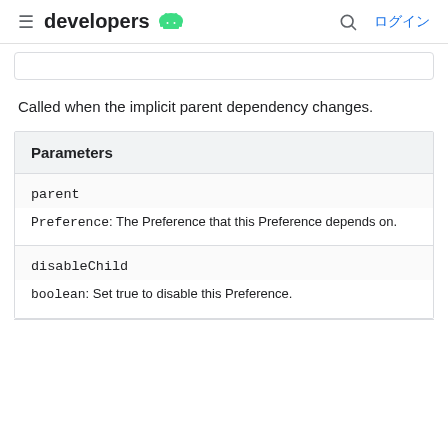developers [android logo] ログイン
Called when the implicit parent dependency changes.
| Parameters |
| --- |
| parent | Preference: The Preference that this Preference depends on. |
| disableChild | boolean: Set true to disable this Preference. |